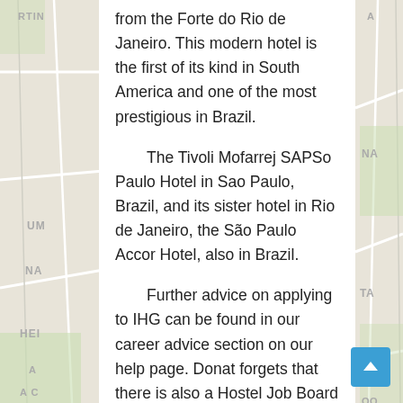[Figure (map): Street map background visible on left and right sides of the page, with gray road lines and area labels including partial text like UM, NA, HEI, A, A C, TA, RA, OO, RU]
from the Forte do Rio de Janeiro. This modern hotel is the first of its kind in South America and one of the most prestigious in Brazil.

The Tivoli Mofarrej SAPSo Paulo Hotel in Sao Paulo, Brazil, and its sister hotel in Rio de Janeiro, the São Paulo Accor Hotel, also in Brazil.

Further advice on applying to IHG can be found in our career advice section on our help page. Donat forgets that there is also a Hostel Job Board on Hostel Girl, and you can